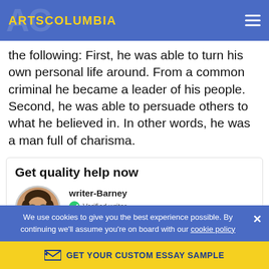ARTSCOLUMBIA
the following: First, he was able to turn his own personal life around. From a common criminal he became a leader of his people. Second, he was able to persuade others to what he believed in. In other words, he was a man full of charisma.
Get quality help now
writer-Barney
Verified writer
Proficient in: Literature
3 Hours
Delivery result
24/7
Support
100%
Plagiarizm free
We use cookies to give you the best experience possible. By continuing we'll assume you're on board with our cookie policy
GET YOUR CUSTOM ESSAY SAMPLE